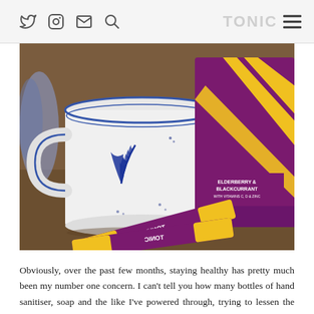Social media icons (Twitter, Instagram, Email, Search), TONIC logo, hamburger menu
[Figure (photo): A white ceramic mug with blue floral/leaf pattern sitting on a wooden surface, next to a purple and yellow box of Tonic Elderberry & Blackcurrant supplement with Vitamins C, D & Zinc, and several purple/yellow individual sachet packets labelled TONIC scattered in front.]
Obviously, over the past few months, staying healthy has pretty much been my number one concern. I can't tell you how many bottles of hand sanitiser, soap and the like I've powered through, trying to lessen the risk of catching anything. A seriously easy way to stay virus-free has been enjoying a cup of Tonic High Dose every morning. Packaged in individual